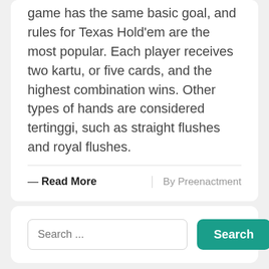game has the same basic goal, and rules for Texas Hold'em are the most popular. Each player receives two kartu, or five cards, and the highest combination wins. Other types of hands are considered tertinggi, such as straight flushes and royal flushes.
— Read More
By Preenactment
Search ...
Search